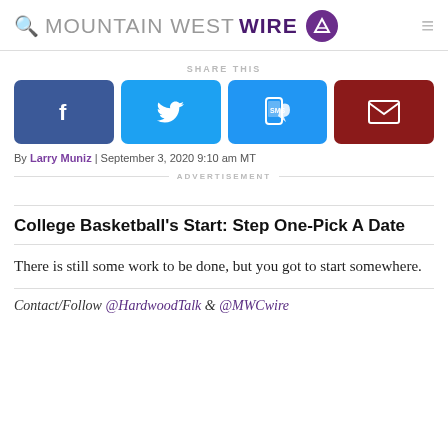MOUNTAIN WEST WIRE
SHARE THIS
[Figure (infographic): Four social share buttons: Facebook (blue), Twitter (light blue), SMS (blue), Email (dark red)]
By Larry Muniz | September 3, 2020 9:10 am MT
ADVERTISEMENT
College Basketball's Start: Step One-Pick A Date
There is still some work to be done, but you got to start somewhere.
Contact/Follow @HardwoodTalk & @MWCwire